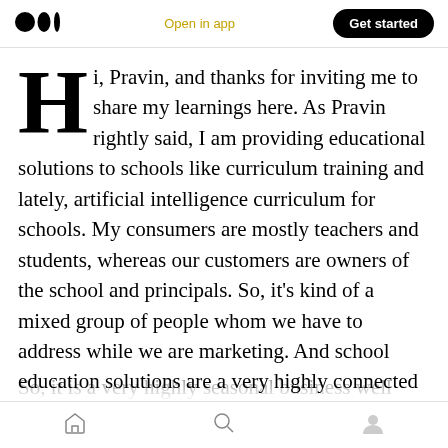Open in app | Get started
Hi, Pravin, and thanks for inviting me to share my learnings here. As Pravin rightly said, I am providing educational solutions to schools like curriculum training and lately, artificial intelligence curriculum for schools. My consumers are mostly teachers and students, whereas our customers are owners of the school and principals. So, it's kind of a mixed group of people whom we have to address while we are marketing. And school education solutions are a very highly connected and competitive industry. So, it is a very highly seasonal business well
Home | Search | Profile